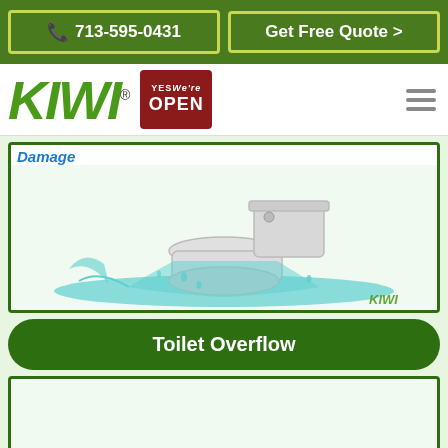📞 713-595-0431  |  Get Free Quote >
[Figure (logo): KIWI logo with YES We're OPEN badge and hamburger menu]
[Figure (illustration): Cartoon illustration of an overflowing toilet with water spilling on floor, KIWI watermark at bottom right. Label 'Damage' at top left.]
Toilet Overflow
Ceiling Damage